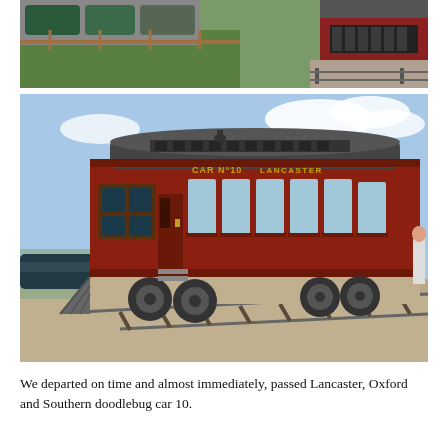[Figure (photo): Top portion of a photo showing parked cars on the left, a wooden fence, green grass, and the front/top of a red railway car on tracks with gravel.]
[Figure (photo): A large red Lancaster Oxford and Southern railroad car No. 10 (doodlebug car) sitting on tracks with gravel, cars visible in background on the left, blue sky with clouds above.]
We departed on time and almost immediately, passed Lancaster, Oxford and Southern doodlebug car 10.